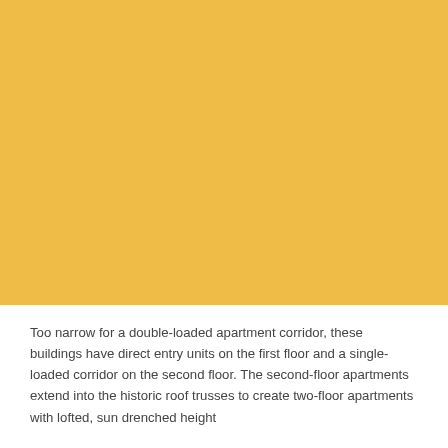[Figure (photo): Large rectangular image with a golden yellow / amber color fill, occupying the upper portion of the page.]
Too narrow for a double-loaded apartment corridor, these buildings have direct entry units on the first floor and a single-loaded corridor on the second floor. The second-floor apartments extend into the historic roof trusses to create two-floor apartments with lofted, sun drenched height